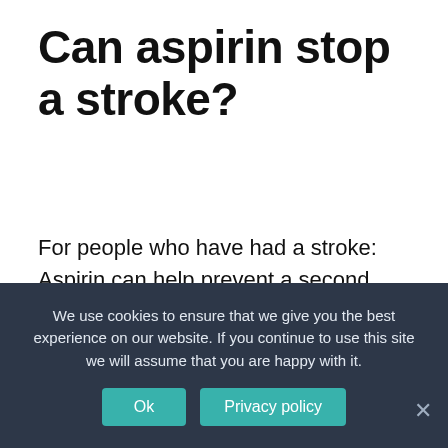Can aspirin stop a stroke?
For people who have had a stroke: Aspirin can help prevent a second stroke or a transient ischemic attack (TIA), which is often a warning sign of a stroke. For people who have never had a heart attack or stroke: Talk to your doctor before you start taking aspirin
We use cookies to ensure that we give you the best experience on our website. If you continue to use this site we will assume that you are happy with it.